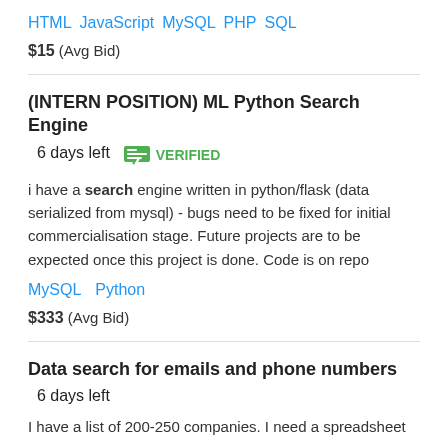HTML  JavaScript  MySQL  PHP  SQL
$15  (Avg Bid)
(INTERN POSITION) ML Python Search Engine  6 days left  VERIFIED
i have a search engine written in python/flask (data serialized from mysql) - bugs need to be fixed for initial commercialisation stage. Future projects are to be expected once this project is done. Code is on repo
MySQL  Python
$333  (Avg Bid)
Data search for emails and phone numbers  6 days left
I have a list of 200-250 companies. I need a spreadsheet